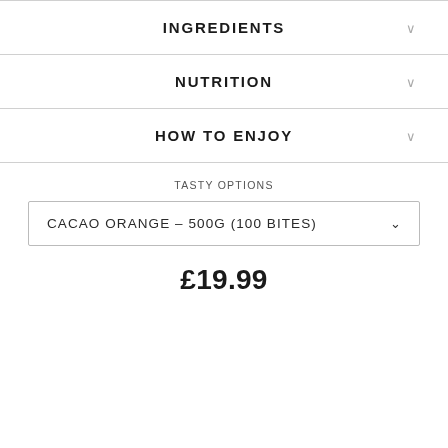INGREDIENTS
NUTRITION
HOW TO ENJOY
TASTY OPTIONS
CACAO ORANGE – 500G (100 BITES)
£19.99